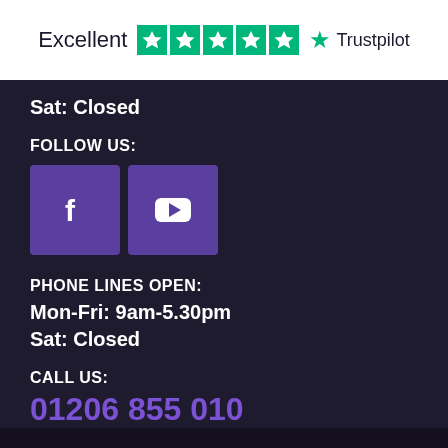[Figure (logo): Trustpilot rating bar showing 'Excellent' with 5 green star boxes and Trustpilot logo]
Sat: Closed
FOLLOW US:
[Figure (illustration): Two purple social media icon buttons: Facebook (f) and YouTube (play button)]
PHONE LINES OPEN:
Mon-Fri: 9am-5.30pm
Sat: Closed
CALL US:
01206 855 010